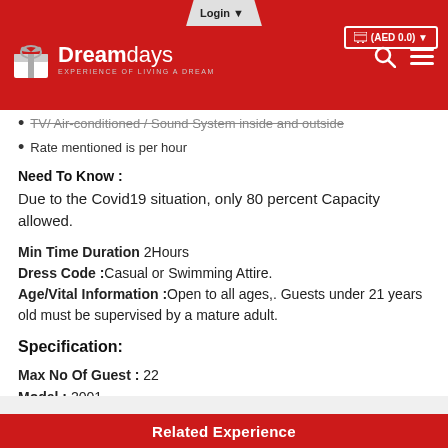Dreamdays – Experience of Living a Dream
TV/ Air-conditioned / Sound System inside and outside
Rate mentioned is per hour
Need To Know :
Due to the Covid19 situation, only 80 percent Capacity allowed.
Min Time Duration 2Hours
Dress Code :Casual or Swimming Attire.
Age/Vital Information :Open to all ages,. Guests under 21 years old must be supervised by a mature adult.
Specification:
Max No Of Guest : 22
Model : 2001
Size per SqrFt: 55
Boat Type : Fishing,Cruise,Party
Related Experience